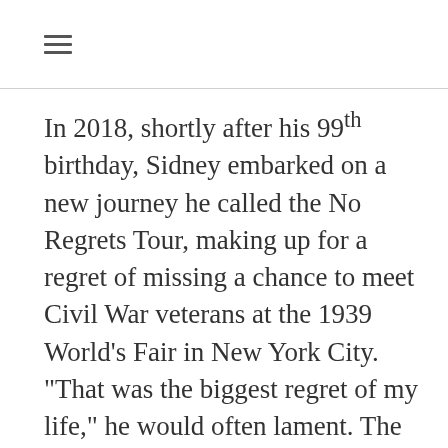≡
In 2018, shortly after his 99th birthday, Sidney embarked on a new journey he called the No Regrets Tour, making up for a regret of missing a chance to meet Civil War veterans at the 1939 World's Fair in New York City.  "That was the biggest regret of my life," he would often lament. The goal of the national tour was to visit all 50 states and meet all 50 governors to raise awareness of our veterans and give as many people as possible the chance to